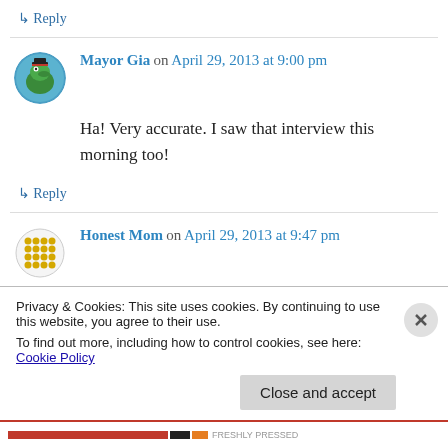↳ Reply
Mayor Gia on April 29, 2013 at 9:00 pm
Ha! Very accurate. I saw that interview this morning too!
↳ Reply
Honest Mom on April 29, 2013 at 9:47 pm
Privacy & Cookies: This site uses cookies. By continuing to use this website, you agree to their use. To find out more, including how to control cookies, see here: Cookie Policy
Close and accept